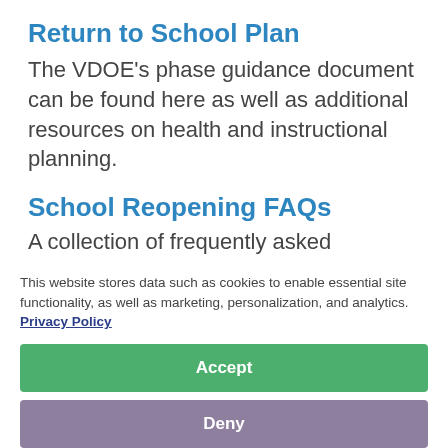Return to School Plan
The VDOE's phase guidance document can be found here as well as additional resources on health and instructional planning.
School Reopening FAQs
A collection of frequently asked questions surrounding the
plan for family preferences and the Effects on Student Enrollment
This website stores data such as cookies to enable essential site functionality, as well as marketing, personalization, and analytics. Privacy Policy
Accept
Deny